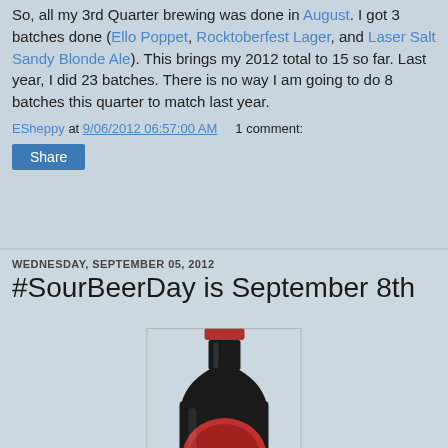So, all my 3rd Quarter brewing was done in August. I got 3 batches done (Ello Poppet, Rocktoberfest Lager, and Laser Salt Sandy Blonde Ale). This brings my 2012 total to 15 so far. Last year, I did 23 batches. There is no way I am going to do 8 batches this quarter to match last year.
ESheppy at 9/06/2012 06:57:00 AM   1 comment:
Share
WEDNESDAY, SEPTEMBER 05, 2012
#SourBeerDay is September 8th
[Figure (photo): Dark beer bottle with red label showing 'LiPS' text, photographed against a light background]